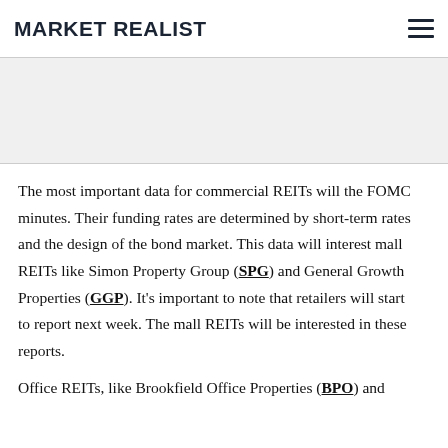MARKET REALIST
The most important data for commercial REITs will the FOMC minutes. Their funding rates are determined by short-term rates and the design of the bond market. This data will interest mall REITs like Simon Property Group (SPG) and General Growth Properties (GGP). It's important to note that retailers will start to report next week. The mall REITs will be interested in these reports.
Office REITs, like Brookfield Office Properties (BPO) and